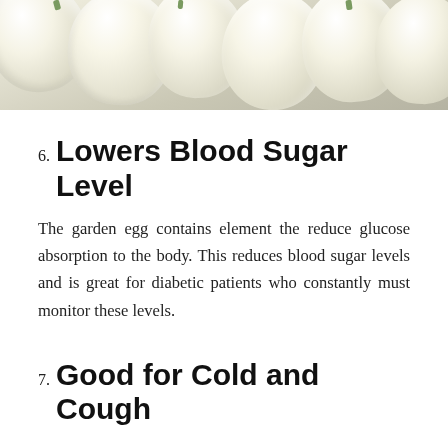[Figure (photo): Photo of white garden eggs (white eggplants) in a group, close-up view from above]
6. Lowers Blood Sugar Level
The garden egg contains element the reduce glucose absorption to the body. This reduces blood sugar levels and is great for diabetic patients who constantly must monitor these levels.
7. Good for Cold and Cough
Garden eggs contain vitamin C which is the active element needed to fight colds, coughs and prevent